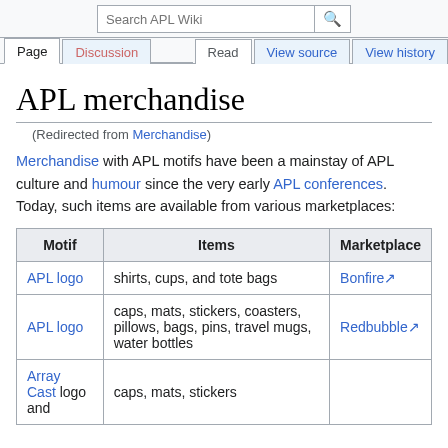Search APL Wiki | Page | Discussion | Read | View source | View history
APL merchandise
(Redirected from Merchandise)
Merchandise with APL motifs have been a mainstay of APL culture and humour since the very early APL conferences. Today, such items are available from various marketplaces:
| Motif | Items | Marketplace |
| --- | --- | --- |
| APL logo | shirts, cups, and tote bags | Bonfire |
| APL logo | caps, mats, stickers, coasters, pillows, bags, pins, travel mugs, water bottles | Redbubble |
| Array Cast logo and | caps, mats, stickers |  |